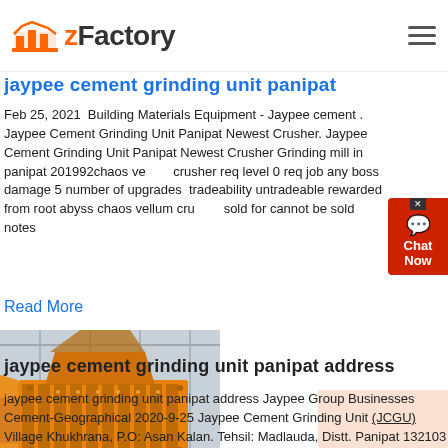zFactory
jaypee cement grinding unit panipat
Feb 25, 2021  Building Materials Equipment - Jaypee cement . Jaypee Cement Grinding Unit Panipat Newest Crusher. Jaypee Cement Grinding Unit Panipat Newest Crusher Grinding mill in panipat 201992chaos vellum crusher req level 0 req job any boss damage 5 number of upgrades tradeability untradeable rewarded from root abyss chaos vellum crusher sold for cannot be sold notes
Read More
[Figure (photo): Yellow industrial impact crusher machine in a factory setting]
jaypee cement grinding unit panipat address
jaypee cement grinding unit panipat address Jaypee Group Businesses Cement-Geographical 2020-9-25 Jaypee Cement Grinding Unit (JCGU) Village Khukhrana, P.O: Asan Kalan. Tehsil: Madlauda, Distt. Panipat 132103 (Haryana) Tel: (0180) 2529160, Fax: (0180) 2529100, CAPACITY 1.50